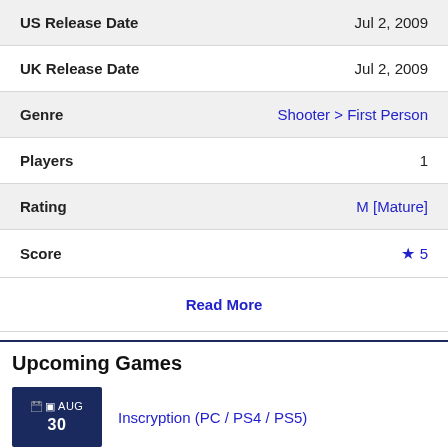| Field | Value |
| --- | --- |
| US Release Date | Jul 2, 2009 |
| UK Release Date | Jul 2, 2009 |
| Genre | Shooter > First Person |
| Players | 1 |
| Rating | M [Mature] |
| Score | ★ 5 |
Read More
Upcoming Games
AUG 30 — Inscryption (PC / PS4 / PS5)